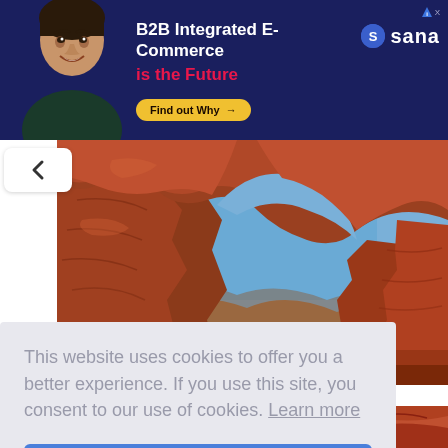[Figure (infographic): Advertisement banner for Sana B2B Integrated E-Commerce with man in dark shirt, dark blue background, Sana logo, and 'Find out Why' button]
[Figure (photo): Red rock canyon arch formation with blue sky visible through the opening, desert landscape]
This website uses cookies to offer you a better experience. If you use this site, you consent to our use of cookies. Learn more
I Agree